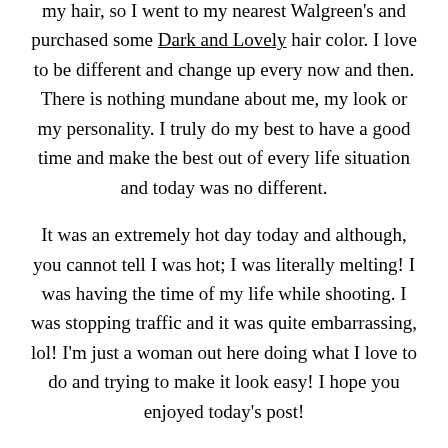my hair, so I went to my nearest Walgreen's and purchased some Dark and Lovely hair color. I love to be different and change up every now and then. There is nothing mundane about me, my look or my personality. I truly do my best to have a good time and make the best out of every life situation and today was no different.

It was an extremely hot day today and although, you cannot tell I was hot; I was literally melting! I was having the time of my life while shooting. I was stopping traffic and it was quite embarrassing, lol! I'm just a woman out here doing what I love to do and trying to make it look easy! I hope you enjoyed today's post!